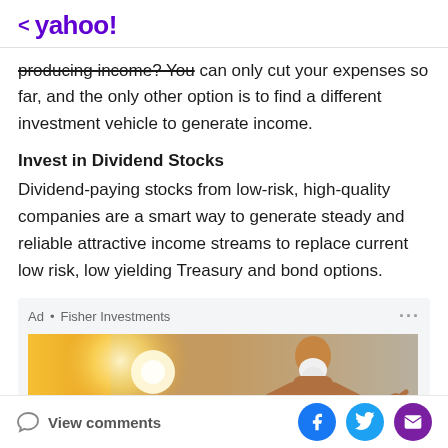< yahoo!
producing income? You can only cut your expenses so far, and the only other option is to find a different investment vehicle to generate income.
Invest in Dividend Stocks
Dividend-paying stocks from low-risk, high-quality companies are a smart way to generate steady and reliable attractive income streams to replace current low risk, low yielding Treasury and bond options.
[Figure (photo): Advertisement from Fisher Investments showing an older man with white beard, shirtless, outdoors with a bright golden sunburst background]
View comments